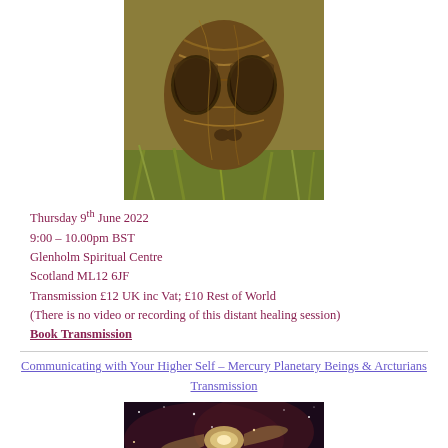[Figure (photo): A carved wooden alien head sculpture with large eyes, placed on grass, made from tiger eye stone or similar brown/amber wood with swirling grain patterns.]
Thursday 9th June 2022
9:00 – 10.00pm BST
Glenholm Spiritual Centre
Scotland ML12 6JF
Transmission £12 UK inc Vat; £10 Rest of World
(There is no video or recording of this distant healing session)
Book Transmission
Communicating with Your Higher Self – Mercury Planetary Beings & Arcturians Transmission
[Figure (photo): A cosmic/galaxy image showing a spiral galaxy surrounded by stars and a reddish nebula background, representing space and spiritual connection.]